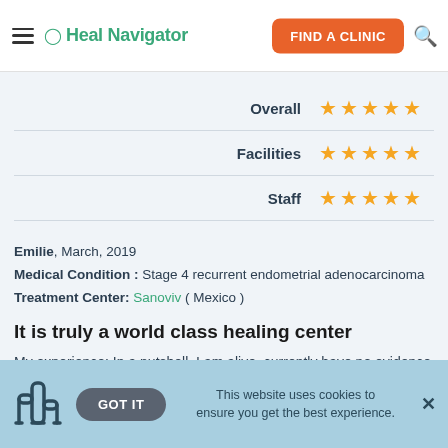Heal Navigator — FIND A CLINIC
| Category | Rating |
| --- | --- |
| Overall | ★★★★★ |
| Facilities | ★★★★★ |
| Staff | ★★★★★ |
Emilie, March, 2019
Medical Condition : Stage 4 recurrent endometrial adenocarcinoma
Treatment Center: Sanoviv ( Mexico )
It is truly a world class healing center
My experience: In a nutshell, I am alive, currently have no evidence of disease, and I am feeling very well. This is huge since in Dec. 2017, I had surgery to remove s cancerous tumor at a
GOT IT   This website uses cookies to ensure you get the best experience.